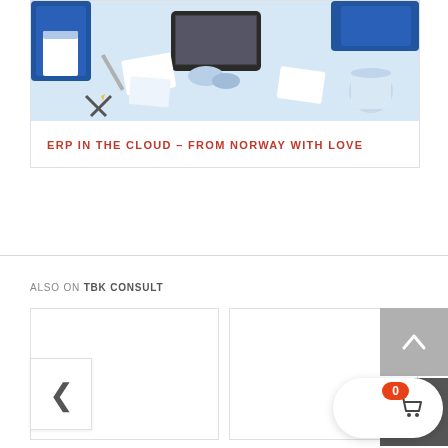[Figure (illustration): Flat design illustration showing business people collaborating with documents and laptops on a light blue background]
ERP IN THE CLOUD – FROM NORWAY WITH LOVE
ALSO ON TBK CONSULT
[Figure (screenshot): Two card thumbnails in an 'Also on TBK Consult' related content section, with left navigation arrow and right-side scroll-up and mail buttons, plus a cart bubble with badge showing 0]